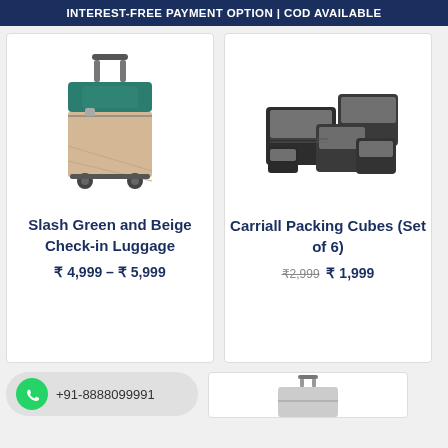INTEREST-FREE PAYMENT OPTION | COD AVAILABLE
[Figure (photo): Green and beige soft-shell spinner luggage with telescopic handle]
Slash Green and Beige Check-in Luggage
₹ 4,999 – ₹ 5,999
[Figure (photo): Set of 6 black and grey packing cubes of various sizes]
Carriall Packing Cubes (Set of 6)
₹2,999  ₹ 1,999
+91-8888099991
[Figure (photo): Hard-shell luggage partially visible at bottom right]